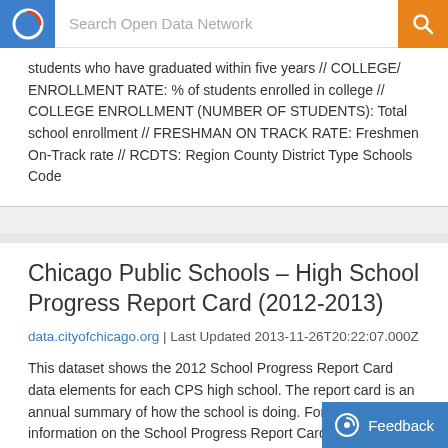Search Open Data Network
students who have graduated within five years // COLLEGE/ ENROLLMENT RATE: % of students enrolled in college // COLLEGE ENROLLMENT (NUMBER OF STUDENTS): Total school enrollment // FRESHMAN ON TRACK RATE: Freshmen On-Track rate // RCDTS: Region County District Type Schools Code
Chicago Public Schools – High School Progress Report Card (2012-2013)
data.cityofchicago.org | Last Updated 2013-11-26T20:22:07.000Z
This dataset shows the 2012 School Progress Report Card data elements for each CPS high school. The report card is an annual summary of how the school is doing. For more information on the School Progress Report Cards,